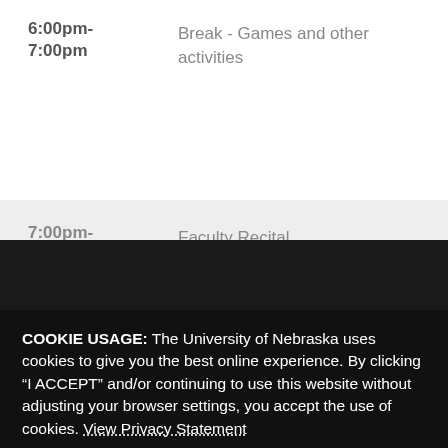6:00pm-7:00pm
Break - Games and other activities
7:00pm-8:00pm
Faculty Recital
Sunday
9:00am
Check-in (In-person) or Sign-in to Zoom (Virtual)
9:30am-11:30am:
Competition
COOKIE USAGE: The University of Nebraska uses cookies to give you the best online experience. By clicking “I ACCEPT” and/or continuing to use this website without adjusting your browser settings, you accept the use of cookies. View Privacy Statement
I ACCEPT